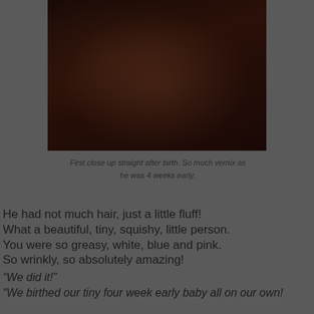[Figure (photo): Dark close-up photo of a newborn baby, very dark tones, showing vernix-covered infant shortly after birth]
First close up straight after birth. So much vernix as he was 4 weeks early.
He had not much hair, just a little fluff!
What a beautiful, tiny, squishy, little person.
You were so greasy, white, blue and pink.
So wrinkly, so absolutely amazing!
“We did it!”
“We birthed our tiny four week early baby all on our own!